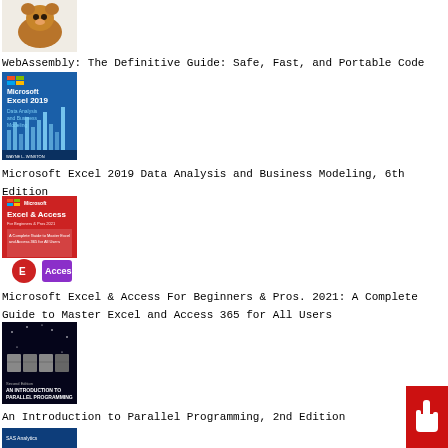[Figure (illustration): Book cover for WebAssembly: The Definitive Guide with animal illustration (brown bear-like creature)]
WebAssembly: The Definitive Guide: Safe, Fast, and Portable Code
[Figure (illustration): Book cover for Microsoft Excel 2019 Data Analysis and Business Modeling, 6th Edition - blue cover with chart graphics]
Microsoft Excel 2019 Data Analysis and Business Modeling, 6th Edition
[Figure (illustration): Book cover for Microsoft Excel & Access For Beginners & Pros 2021 - red cover with Microsoft branding]
Microsoft Excel & Access For Beginners & Pros. 2021: A Complete Guide to Master Excel and Access 365 for All Users
[Figure (illustration): Book cover for An Introduction to Parallel Programming, 2nd Edition - dark blue/black cover]
An Introduction to Parallel Programming, 2nd Edition
[Figure (illustration): Book cover for SAS Analytics - blue cover partially visible]
[Figure (illustration): Red button with hand/pointer icon in bottom right corner]